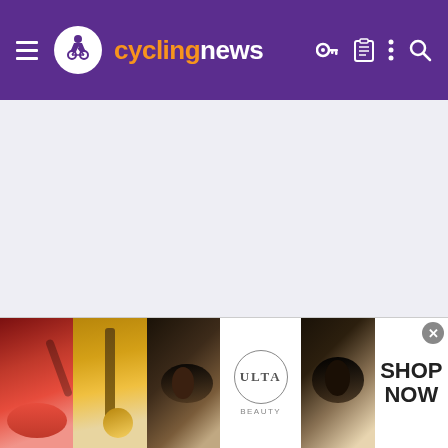cyclingnews
[Figure (screenshot): Empty gray content area of the cyclingnews website]
hatcher
[Figure (infographic): Ulta Beauty advertisement banner with makeup images: lips, brush, eye, Ulta logo, eye close-up, and SHOP NOW text]